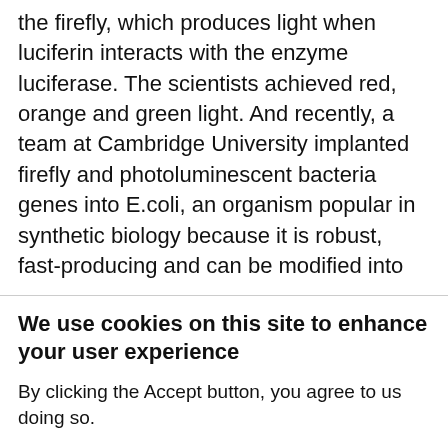the firefly, which produces light when luciferin interacts with the enzyme luciferase. The scientists achieved red, orange and green light. And recently, a team at Cambridge University implanted firefly and photoluminescent bacteria genes into E.coli, an organism popular in synthetic biology because it is robust, fast-producing and can be modified into
We use cookies on this site to enhance your user experience
By clicking the Accept button, you agree to us doing so.